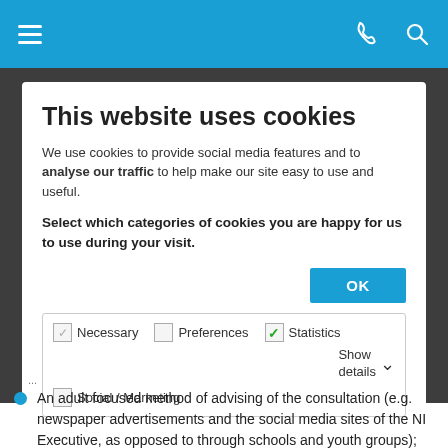[Figure (screenshot): Blue navigation bar with hamburger menu icon on left, phone and search icons on right]
This website uses cookies
We use cookies to provide social media features and to analyse our traffic to help make our site easy to use and useful.
Select which categories of cookies you are happy for us to use during your visit.
OK button
Necessary  Preferences  Statistics  Social / Marketing  Show details
An adult focused method of advising of the consultation (e.g. newspaper advertisements and the social media sites of the NI Executive, as opposed to through schools and youth groups);